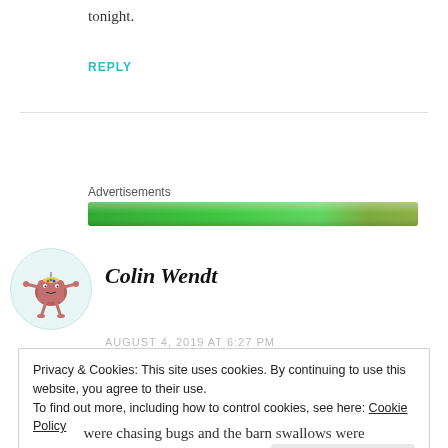tonight.
REPLY
Advertisements
[Figure (other): Green advertisement banner bar]
[Figure (illustration): Avatar icon of Colin Wendt — cartoon character on light teal circular background]
Colin Wendt
AUGUST 4, 2019 AT 6:27 PM
Privacy & Cookies: This site uses cookies. By continuing to use this website, you agree to their use.
To find out more, including how to control cookies, see here: Cookie Policy
Close and accept
were chasing bugs and the barn swallows were